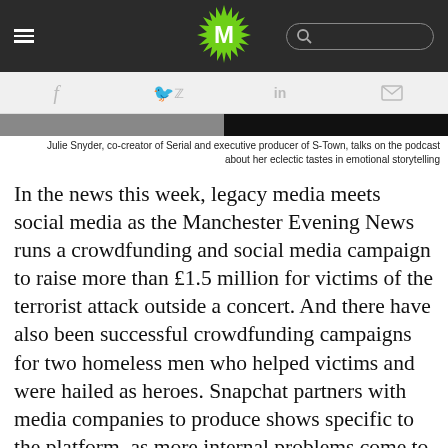M [logo] [search bar] [hamburger menu]
f [facebook] [twitter] in [linkedin] [email]
[Figure (photo): Partial image strip showing a dark/grey scene, split into grey left half and dark right half]
Julie Snyder, co-creator of Serial and executive producer of S-Town, talks on the podcast about her eclectic tastes in emotional storytelling
In the news this week, legacy media meets social media as the Manchester Evening News runs a crowdfunding and social media campaign to raise more than £1.5 million for victims of the terrorist attack outside a concert. And there have also been successful crowdfunding campaigns for two homeless men who helped victims and were hailed as heroes. Snapchat partners with media companies to produce shows specific to the platform, as more internal problems come to light at the newly public company. Amazon founder Jeff Bezos gives $1 million to provide more legal aid to journalists in the U.S. who are battling